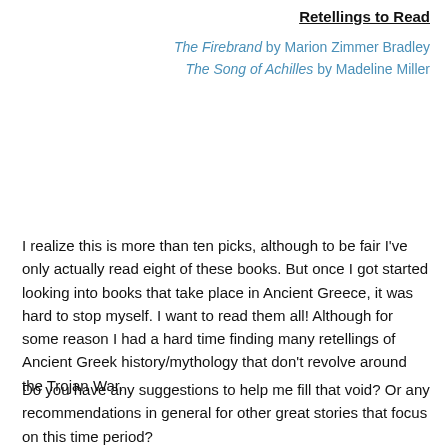Retellings to Read
The Firebrand by Marion Zimmer Bradley
The Song of Achilles by Madeline Miller
I realize this is more than ten picks, although to be fair I've only actually read eight of these books. But once I got started looking into books that take place in Ancient Greece, it was hard to stop myself. I want to read them all! Although for some reason I had a hard time finding many retellings of Ancient Greek history/mythology that don't revolve around the Trojan War.
Do you have any suggestions to help me fill that void? Or any recommendations in general for other great stories that focus on this time period?